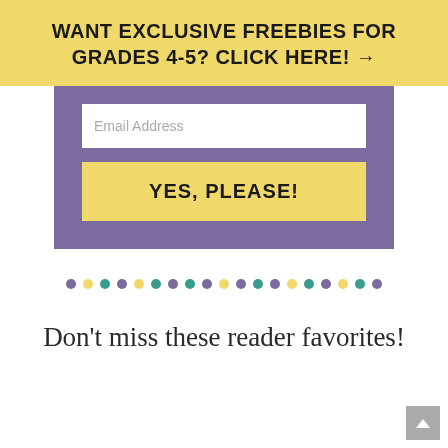WANT EXCLUSIVE FREEBIES FOR GRADES 4-5? CLICK HERE! →
[Figure (screenshot): Email signup form with purple background, white email input field showing placeholder text 'Email Address', and a yellow 'YES, PLEASE!' button]
[Figure (infographic): Decorative row of colored dots in alternating colors: purple, yellow, teal, purple, yellow, teal, purple, teal, purple, yellow, purple, teal, purple, yellow, teal, purple, yellow, teal, purple]
Don't miss these reader favorites!